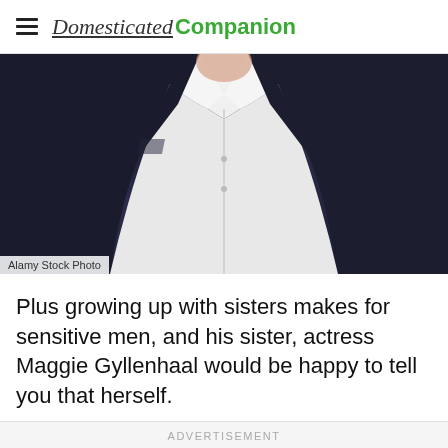Domesticated Companion
[Figure (photo): Close-up photo of a person wearing a dark navy/black suit jacket over an open white dress shirt, torso-level view, no face visible]
Alamy Stock Photo
Plus growing up with sisters makes for sensitive men, and his sister, actress Maggie Gyllenhaal would be happy to tell you that herself.
ADVERTISEMENT